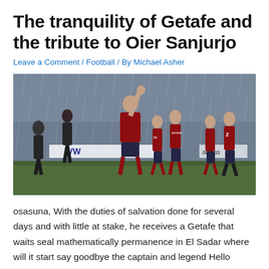The tranquility of Getafe and the tribute to Oier Sanjurjo
Leave a Comment / Football / By Michael Asher
[Figure (photo): Football players in dark red Osasuna kits celebrating on a rainy pitch. A player in the center raises his fist in the air. Several teammates walk around him. A VW sponsor board is visible in the background.]
osasuna, With the duties of salvation done for several days and with little at stake, he receives a Getafe that waits seal mathematically permanence in El Sadar where will it start say goodbye the captain and legend Hello before his public, after